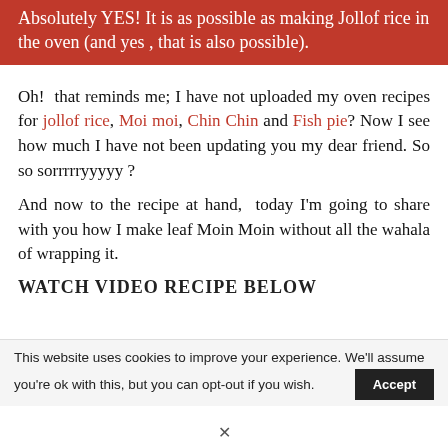Absolutely YES! It is as possible as making Jollof rice in the oven (and yes , that is also possible).
Oh! that reminds me; I have not uploaded my oven recipes for jollof rice, Moi moi, Chin Chin and Fish pie? Now I see how much I have not been updating you my dear friend. So so sorrrrryyyyy ?
And now to the recipe at hand,  today I'm going to share with you how I make leaf Moin Moin without all the wahala of wrapping it.
WATCH VIDEO RECIPE BELOW
This website uses cookies to improve your experience. We'll assume you're ok with this, but you can opt-out if you wish.